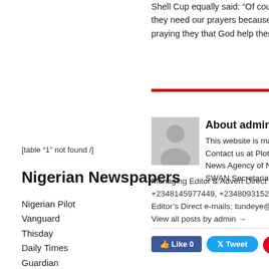Shell Cup equally said: "Of course, w... they need our prayers because the m... praying they that God help them quali...
[table “1” not found /]
Nigerian Newspapers
Nigerian Pilot
Vanguard
Thisday
Daily Times
Guardian
Punch
PM News
The Sun
Leadership
Nation
Tribune
Blueprint
Independent
Nat'l Mirror
Observer
Champion
[Figure (illustration): Gray avatar/profile placeholder image showing silhouette of person]
About admin
This website is manag...
Contact us at Plot 35,
News Agency of Niger...
SWAN Secretariat, Na...
Managing Editor & Advert Direct Lines:
+2348145977449, +2348093152337...
Editor's Direct e-mails; tundeye@yah...
View all posts by admin →
Like 0   Tweet   Save   Share
RELATED POSTS
Super Falcons Arrive Kansas Ci...   Gha... In G...